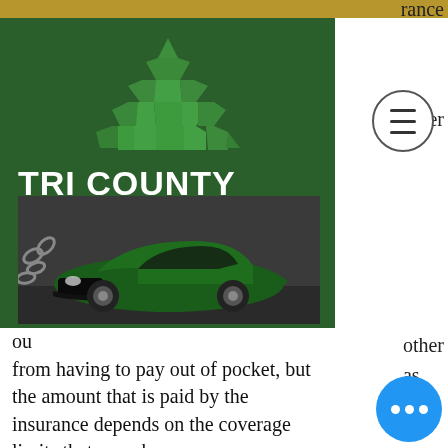[Figure (logo): Tri County Title Pawn logo — green background with geometric pyramid/diamond logo mark and white bold text reading TRI COUNTY TITLE PAWN, plus a photo of a green sports car breaking chains]
rance
er
other
as
ou
from having to pay out of pocket, but the amount that is paid by the insurance depends on the coverage limits that you choose.
There is a noticeable difference between liability and full coverage insurance. In short, full coverage covers both parties involved in